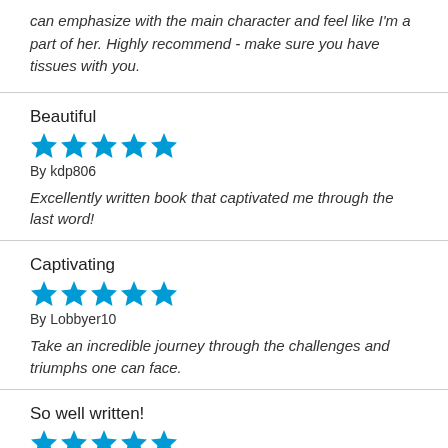can emphasize with the main character and feel like I'm a part of her. Highly recommend - make sure you have tissues with you.
Beautiful
★★★★★ By kdp806
Excellently written book that captivated me through the last word!
Captivating
★★★★★ By Lobbyer10
Take an incredible journey through the challenges and triumphs one can face.
So well written!
★★★★★ By Horrifically terrible